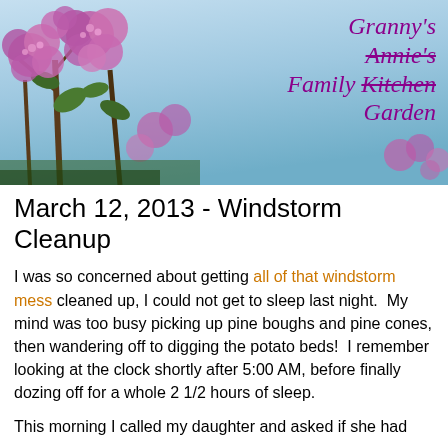[Figure (photo): Banner image showing pink/purple lilac blossoms against a blue sky with cursive text overlay reading 'Granny's Annie's Family Kitchen Garden' in purple, with 'Annie's' and 'Kitchen' struck through]
March 12, 2013 - Windstorm Cleanup
I was so concerned about getting all of that windstorm mess cleaned up, I could not get to sleep last night.  My mind was too busy picking up pine boughs and pine cones, then wandering off to digging the potato beds!  I remember looking at the clock shortly after 5:00 AM, before finally dozing off for a whole 2 1/2 hours of sleep.
This morning I called my daughter and asked if she had